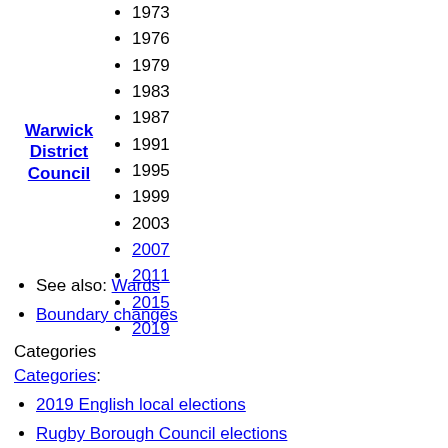1973
1976
1979
1983
1987
1991
1995
1999
2003
2007
2011
2015
2019
Warwick District Council
See also: Wards
Boundary changes
Categories
Categories:
2019 English local elections
Rugby Borough Council elections
2010s in Warwickshire